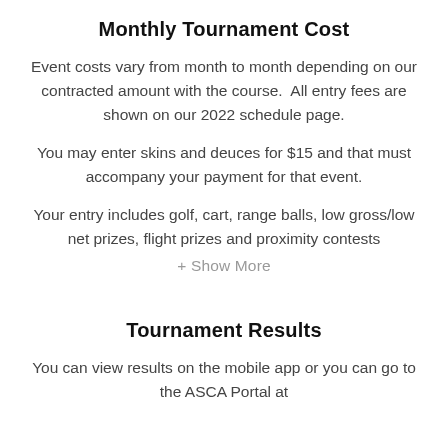Monthly Tournament Cost
Event costs vary from month to month depending on our contracted amount with the course.  All entry fees are shown on our 2022 schedule page.
You may enter skins and deuces for $15 and that must accompany your payment for that event.
Your entry includes golf, cart, range balls, low gross/low net prizes, flight prizes and proximity contests
+ Show More
Tournament Results
You can view results on the mobile app or you can go to the ASCA Portal at